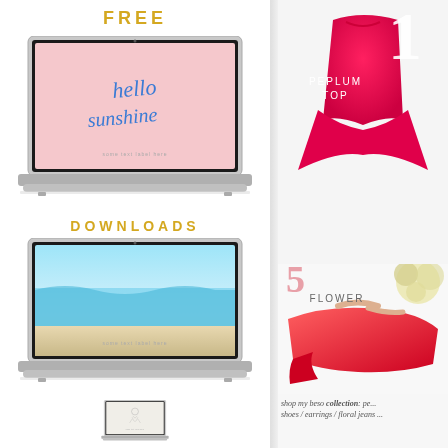FREE
[Figure (illustration): MacBook laptop showing 'hello sunshine' handwritten text wallpaper on pink background]
DOWNLOADS
[Figure (illustration): MacBook laptop showing beach/ocean waves wallpaper]
[Figure (illustration): MacBook laptop showing minimalist line drawing wallpaper]
[Figure (photo): Hot pink/magenta peplum top on right side, with large number 1 overlay]
1
PEPLUM
TOP
[Figure (photo): Yellow flower pompom and red/pink wedge sandal shoes]
5
FLOWER
shop my beso collection: pe... shoes / earrings / floral jeans ...